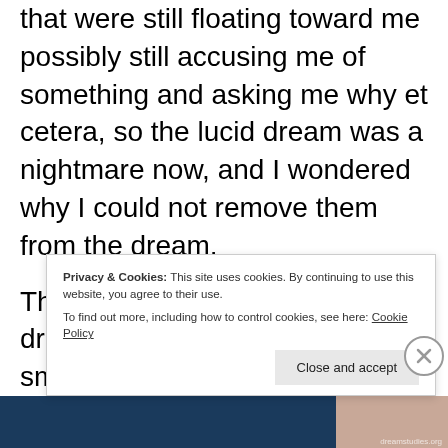that were still floating toward me possibly still accusing me of something and asking me why et cetera, so the lucid dream was a nightmare now, and I wondered why I could not remove them from the dream.
They were ruining my lucid dream, and I was stuck in this small room, and I accidentally woke myself up back into the false awakening dream, because I was trying to change the e... d...
Privacy & Cookies: This site uses cookies. By continuing to use this website, you agree to their use.
To find out more, including how to control cookies, see here: Cookie Policy
Close and accept
[Figure (photo): Bottom of page showing a dark blue/navy banner on the left and a skin-toned image fragment on the right, with a small watermark in the bottom right corner.]